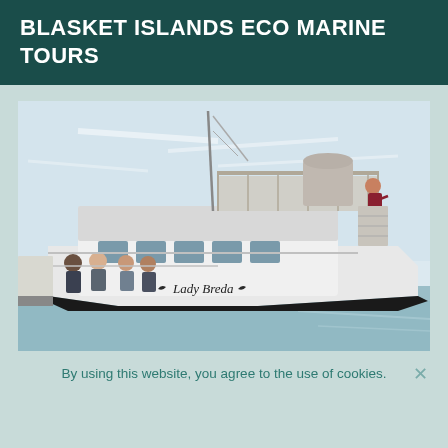BLASKET ISLANDS ECO MARINE TOURS
[Figure (photo): A white tour boat named 'Lady Breda' on calm ocean water. Multiple passengers are visible on the lower deck. A person stands on the upper observation deck railing. The boat has antennas and equipment on top. The sky is light blue with thin clouds.]
By using this website, you agree to the use of cookies.